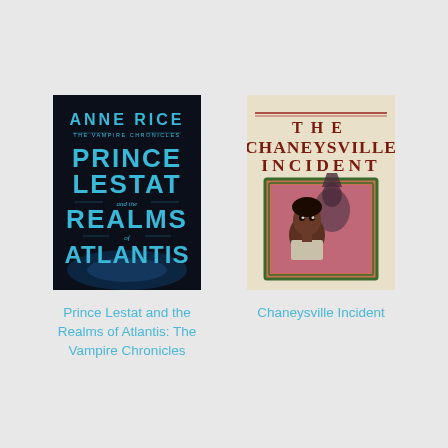[Figure (illustration): Book cover of 'Prince Lestat and the Realms of Atlantis: The Vampire Chronicles' by Anne Rice. Dark background with cyan/blue text.]
Prince Lestat and the Realms of Atlantis: The Vampire Chronicles
[Figure (illustration): Book cover of 'The Chaneysville Incident'. Cream/beige background with dark red serif text. A painted illustration shows a young Black man with a shadowy figure behind him, framed with a green border.]
Chaneysville Incident